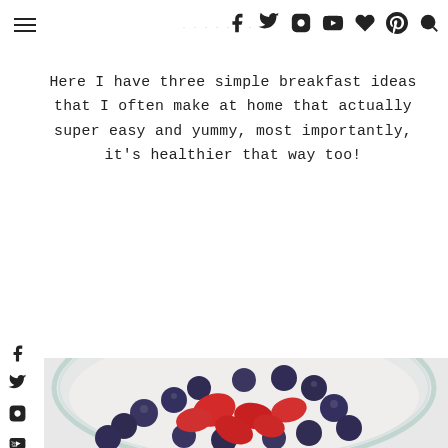Navigation header with hamburger menu, blog title, and social icons (Facebook, Twitter, Instagram, YouTube, Bloglovin, Pinterest, Search)
Here I have three simple breakfast ideas that I often make at home that actually super easy and yummy, most importantly, it's healthier that way too!
[Figure (photo): Top-down photo of a glass bowl filled with mixed berries including blueberries and cut strawberries, on a light background.]